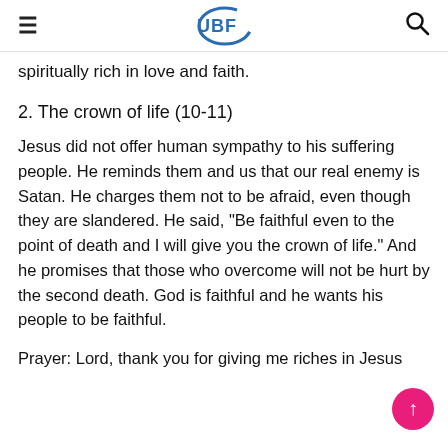UBF (logo)
spiritually rich in love and faith.
2. The crown of life (10-11)
Jesus did not offer human sympathy to his suffering people. He reminds them and us that our real enemy is Satan. He charges them not to be afraid, even though they are slandered. He said, "Be faithful even to the point of death and I will give you the crown of life." And he promises that those who overcome will not be hurt by the second death. God is faithful and he wants his people to be faithful.
Prayer: Lord, thank you for giving me riches in Jesus